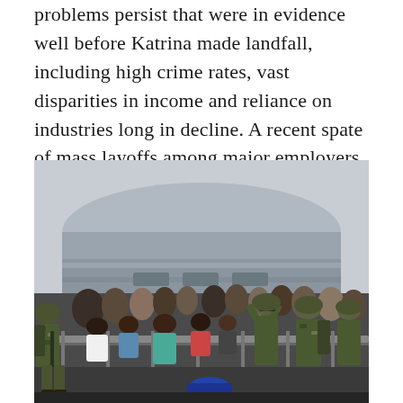problems persist that were in evidence well before Katrina made landfall, including high crime rates, vast disparities in income and reliance on industries long in decline. A recent spate of mass layoffs among major employers hasn't helped matters.
[Figure (photo): Crowd of civilians and National Guard soldiers in camouflage uniforms standing outside the Louisiana Superdome (now Caesars Superdome) in New Orleans during Hurricane Katrina aftermath. Metal barricades separate the crowd from the soldiers. The large domed arena is visible in the background.]